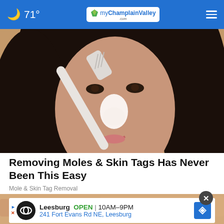🌙 71° | myChamplainValley.com | ≡
[Figure (photo): Close-up photo of a woman applying a white substance to her nose with a toothbrush]
Removing Moles & Skin Tags Has Never Been This Easy
Mole & Skin Tag Removal
[Figure (photo): Partial photo of a person's skin, partially obscured by an advertisement overlay]
Leesburg  OPEN | 10AM–9PM  241 Fort Evans Rd NE, Leesburg